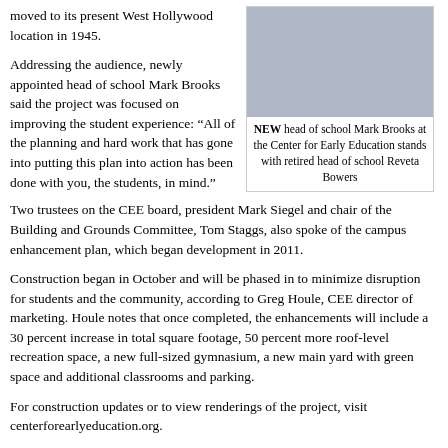moved to its present West Hollywood location in 1945.
[Figure (photo): Two people standing together, one in a blue suit and one in a red outfit, at the Center for Early Education event.]
NEW head of school Mark Brooks at the Center for Early Education stands with retired head of school Reveta Bowers
Addressing the audience, newly appointed head of school Mark Brooks said the project was focused on improving the student experience: “All of the planning and hard work that has gone into putting this plan into action has been done with you, the students, in mind.”
Two trustees on the CEE board, president Mark Siegel and chair of the Building and Grounds Committee, Tom Staggs, also spoke of the campus enhancement plan, which began development in 2011.
Construction began in October and will be phased in to minimize disruption for students and the community, according to Greg Houle, CEE director of marketing. Houle notes that once completed, the enhancements will include a 30 percent increase in total square footage, 50 percent more roof-level recreation space, a new full-sized gymnasium, a new main yard with green space and additional classrooms and parking.
For construction updates or to view renderings of the project, visit centerforearlyeducation.org.